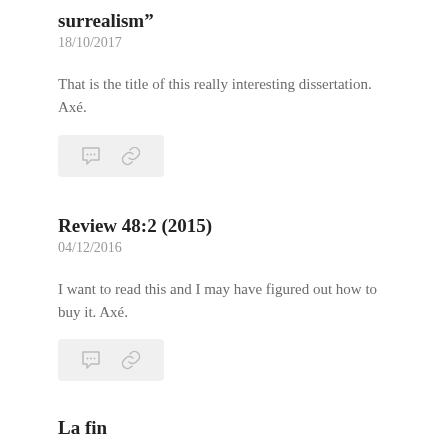surrealism”
18/10/2017
That is the title of this really interesting dissertation. Axé.
[Figure (other): Action bar with comment and link icons]
Review 48:2 (2015)
04/12/2016
I want to read this and I may have figured out how to buy it. Axé.
[Figure (other): Action bar with comment and link icons]
La fin